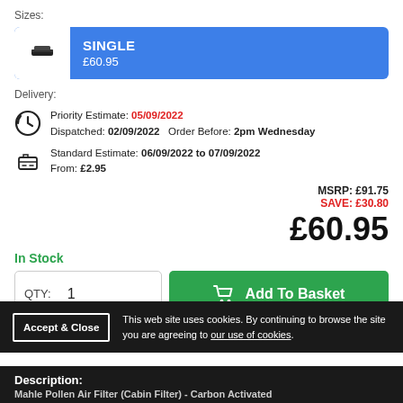Sizes:
SINGLE £60.95
Delivery:
Priority Estimate: 05/09/2022 Dispatched: 02/09/2022  Order Before: 2pm Wednesday
Standard Estimate: 06/09/2022 to 07/09/2022 From: £2.95
MSRP: £91.75
SAVE: £30.80
£60.95
In Stock
QTY: 1
Add To Basket
This web site uses cookies. By continuing to browse the site you are agreeing to our use of cookies.
Accept & Close
Description:
Mahle Pollen Air Filter (Cabin Filter) - Carbon Activated